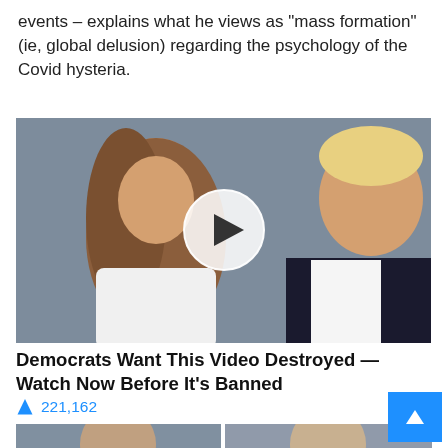events – explains what he views as “mass formation” (ie, global delusion) regarding the psychology of the Covid hysteria.
[Figure (photo): Video thumbnail showing two people (a woman with long blonde hair in a white outfit and a man in a dark suit with red tie), with a circular play button overlay in the center.]
Democrats Want This Video Destroyed — Watch Now Before It’s Banned
🔥 221,162
[Figure (photo): Two side-by-side thumbnail images showing close-up portraits of individuals, partially visible at the bottom of the page.]